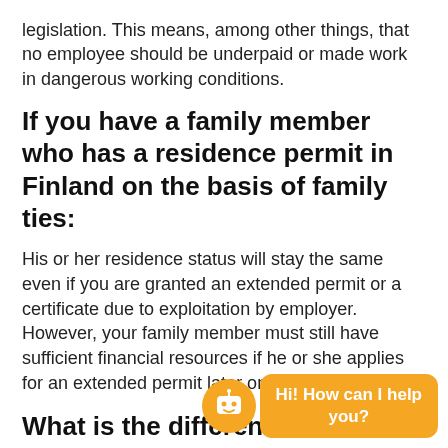legislation. This means, among other things, that no employee should be underpaid or made work in dangerous working conditions.
If you have a family member who has a residence permit in Finland on the basis of family ties:
His or her residence status will stay the same even if you are granted an extended permit or a certificate due to exploitation by employer. However, your family member must still have sufficient financial resources if he or she applies for an extended permit later on.
What is the difference between a residence permit due to exploitation by employer and a r… for a victim of huma…